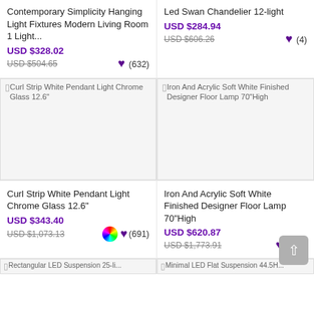Contemporary Simplicity Hanging Light Fixtures Modern Living Room 1 Light...
USD $328.02
USD $504.65
(632)
Led Swan Chandelier 12-light
USD $284.94
USD $606.26
(4)
[Figure (photo): Curl Strip White Pendant Light Chrome Glass 12.6" product image placeholder]
[Figure (photo): Iron And Acrylic Soft White Finished Designer Floor Lamp 70"High product image placeholder]
Curl Strip White Pendant Light Chrome Glass 12.6"
USD $343.40
USD $1,073.13
(691)
Iron And Acrylic Soft White Finished Designer Floor Lamp 70"High
USD $620.87
USD $1,773.91
(637)